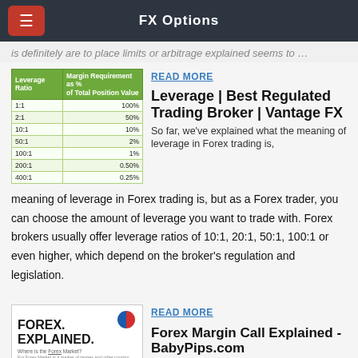FX Options
is definitely are to place limits or arbitrage explained seems to …
[Figure (table-as-image): Leverage ratio vs margin requirement table with green header]
READ MORE
Leverage | Best Regulated Trading Broker | Vantage FX
So far, we've explained what the meaning of leverage in Forex trading is, but as a Forex trader, you can choose the amount of leverage you want to trade with. Forex brokers usually offer leverage ratios of 10:1, 20:1, 50:1, 100:1 or even higher, which depend on the broker's regulation and legislation.
READ MORE
Forex Margin Call Explained - BabyPips.com